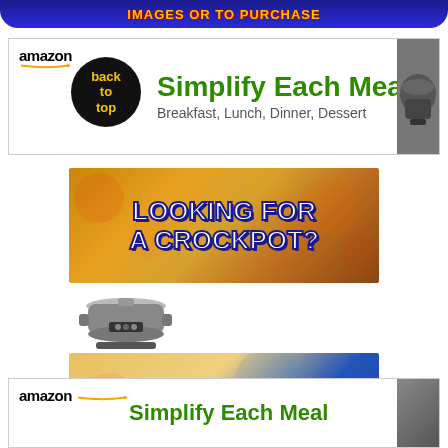[Figure (infographic): Dark blue banner with yellow bold uppercase text: IMAGES OR TO PURCHASE]
[Figure (infographic): Amazon ad banner with amazon logo, back-to-top black circle, green 'Simplify Each Meal' text, subtitle 'Breakfast, Lunch, Dinner, Dessert', and crockpot image on right]
[Figure (infographic): Crockpot search ad: top banner with food background and bold text 'LOOKING FOR A CROCKPOT?', crockpot appliance icon below, bottom banner with 'CLICK TO SEARCH']
[Figure (infographic): Second Amazon ad banner with amazon logo and partial 'Simplify Each Meal' green text]